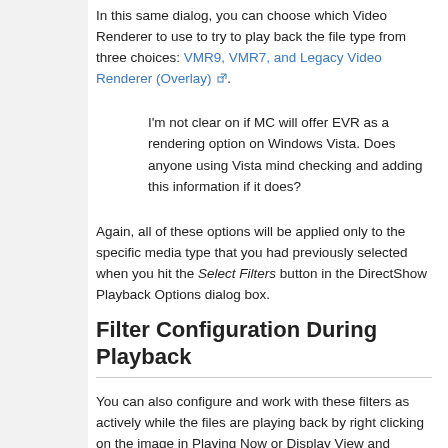In this same dialog, you can choose which Video Renderer to use to try to play back the file type from three choices: VMR9, VMR7, and Legacy Video Renderer (Overlay) [external link].
I'm not clear on if MC will offer EVR as a rendering option on Windows Vista. Does anyone using Vista mind checking and adding this information if it does?
Again, all of these options will be applied only to the specific media type that you had previously selected when you hit the Select Filters button in the DirectShow Playback Options dialog box.
Filter Configuration During Playback
You can also configure and work with these filters as actively while the files are playing back by right clicking on the image in Playing Now or Display View and choosing DirectShow